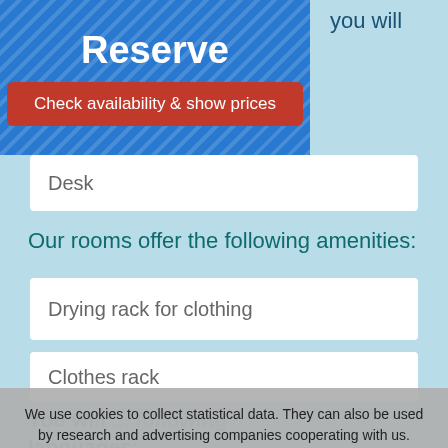Reserve
Check availability & show prices
you will
Desk
Our rooms offer the following amenities:
Drying rack for clothing
Clothes rack
We use cookies to collect statistical data. They can also be used by research and advertising companies cooperating with us. Click "I accept", you consent to the use of cookies. If you do not agree, leave the website or change your browser settings.
I accept